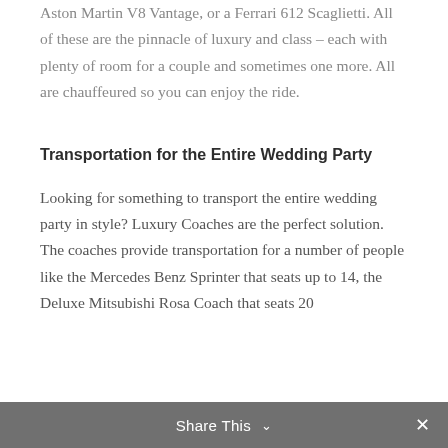Aston Martin V8 Vantage, or a Ferrari 612 Scaglietti. All of these are the pinnacle of luxury and class – each with plenty of room for a couple and sometimes one more. All are chauffeured so you can enjoy the ride.
Transportation for the Entire Wedding Party
Looking for something to transport the entire wedding party in style? Luxury Coaches are the perfect solution. The coaches provide transportation for a number of people like the Mercedes Benz Sprinter that seats up to 14, the Deluxe Mitsubishi Rosa Coach that seats 20
Share This ∨  ✕